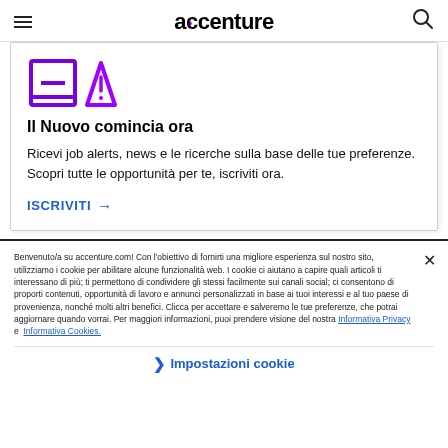accenture
[Figure (illustration): Two purple icons: a document/list icon with a minus sign and a warning/triangle icon with exclamation mark]
Il Nuovo comincia ora
Ricevi job alerts, news e le ricerche sulla base delle tue preferenze. Scopri tutte le opportunità per te, iscriviti ora.
ISCRIVITI →
Benvenuto/a su accenture.com! Con l'obiettivo di fornirti una migliore esperienza sul nostro sito, utilizziamo i cookie per abilitare alcune funzionalità web. I cookie ci aiutano a capire quali articoli ti interessano di più; ti permettono di condividere gli stessi facilmente sui canali social; ci consentono di proporti contenuti, opportunità di lavoro e annunci personalizzati in base ai tuoi interessi e al tuo paese di provenienza, nonché molti altri benefici. Clicca per accettare e salveremo le tue preferenze, che potrai aggiornare quando vorrai. Per maggiori informazioni, puoi prendere visione del nostra Informativa Privacy e Informativa Cookies.
❯ Impostazioni cookie